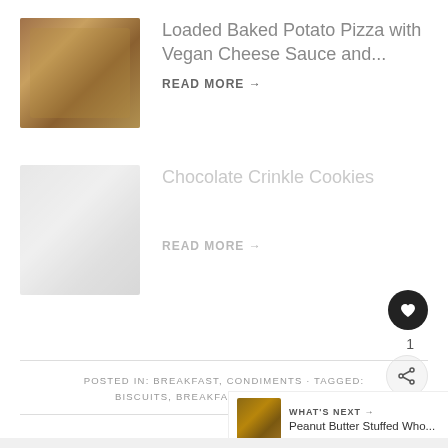[Figure (photo): Photo of a baked potato pizza on a baking sheet]
Loaded Baked Potato Pizza with Vegan Cheese Sauce and...
Read More →
[Figure (photo): Faded photo of chocolate crinkle cookies on a plate]
Chocolate Crinkle Cookies
Read More →
1
POSTED IN: BREAKFAST, CONDIMENTS · TAGGED: BISCUITS, BREAKFAST, CURD, ORAN...
WHAT'S NEXT → Peanut Butter Stuffed Who...